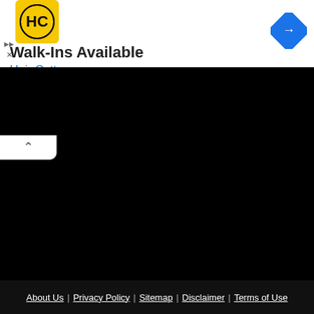[Figure (screenshot): Hair Cuttery advertisement banner with yellow HC logo, text 'Walk-Ins Available' and 'Hair Cuttery', and blue navigation diamond icon]
[Figure (screenshot): Black map area with a white collapse/chevron tab in the top-left corner]
About Us | Privacy Policy | Sitemap | Disclaimer | Terms of Use